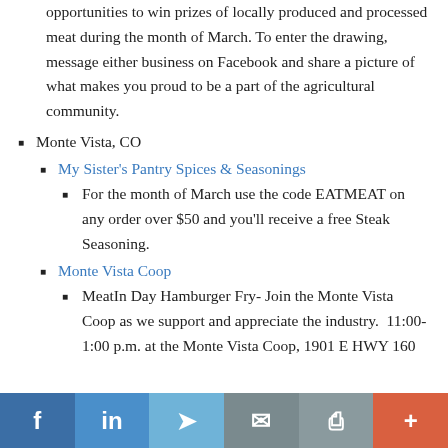opportunities to win prizes of locally produced and processed meat during the month of March. To enter the drawing, message either business on Facebook and share a picture of what makes you proud to be a part of the agricultural community.
Monte Vista, CO
My Sister's Pantry Spices & Seasonings
For the month of March use the code EATMEAT on any order over $50 and you'll receive a free Steak Seasoning.
Monte Vista Coop
MeatIn Day Hamburger Fry- Join the Monte Vista Coop as we support and appreciate the industry.  11:00-1:00 p.m. at the Monte Vista Coop, 1901 E HWY 160
f  in  Twitter  Email  Print  +